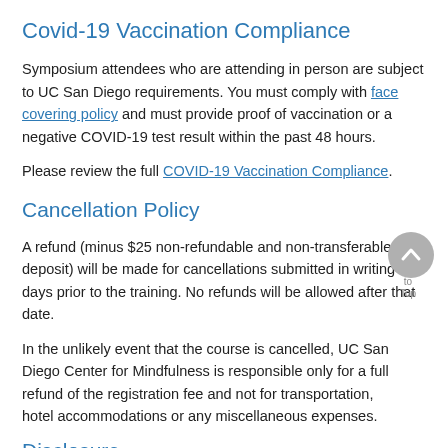Covid-19 Vaccination Compliance
Symposium attendees who are attending in person are subject to UC San Diego requirements. You must comply with face covering policy and must provide proof of vaccination or a negative COVID-19 test result within the past 48 hours.
Please review the full COVID-19 Vaccination Compliance.
Cancellation Policy
A refund (minus $25 non-refundable and non-transferable deposit) will be made for cancellations submitted in writing 14 days prior to the training. No refunds will be allowed after that date.
In the unlikely event that the course is cancelled, UC San Diego Center for Mindfulness is responsible only for a full refund of the registration fee and not for transportation, hotel accommodations or any miscellaneous expenses.
Disclosure